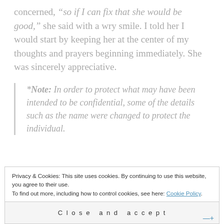concerned, "so if I can fix that she would be good," she said with a wry smile. I told her I would start by keeping her at the center of my thoughts and prayers beginning immediately. She was sincerely appreciative.
*Note: In order to protect what may have been intended to be confidential, some of the details such as the name were changed to protect the individual.
Privacy & Cookies: This site uses cookies. By continuing to use this website, you agree to their use. To find out more, including how to control cookies, see here: Cookie Policy
Close and accept